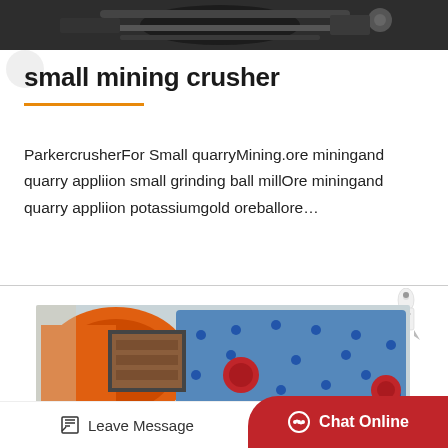[Figure (photo): Top portion of industrial mining machinery, dark background, close-up of mechanical components]
small mining crusher
ParkercrusherFor Small quarryMining.ore miningand quarry appliion small grinding ball millOre miningand quarry appliion potassiumgold oreballore…
[Figure (photo): Industrial mining crusher machine with orange drum and blue metal casing with bolt holes]
Leave Message   Chat Online